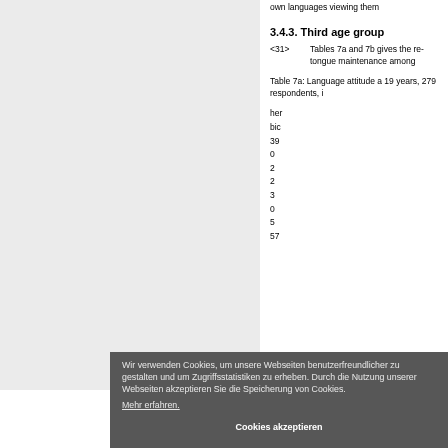own languages viewing them
3.4.3. Third age group
<31> Tables 7a and 7b gives the results of tongue maintenance among
Table 7a: Language attitude among age 15–19 years, 279 respondents, i
Wir verwenden Cookies, um unsere Webseiten benutzerfreundlicher zu gestalten und um Zugriffsstatistiken zu erheben. Durch die Nutzung unserer Webseiten akzeptieren Sie die Speicherung von Cookies. Mehr erfahren.
Cookies akzeptieren